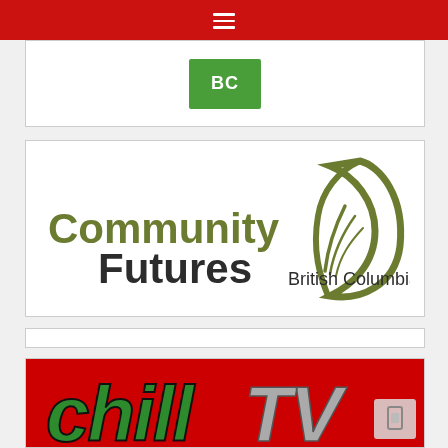[Figure (logo): Red navigation bar with hamburger menu icon (three white horizontal lines) at top of page]
[Figure (logo): Partial white card showing a green BC government logo box]
[Figure (logo): Community Futures British Columbia logo: olive green leaf/wing graphic on right, 'Community' in olive green bold text, 'Futures' in dark gray bold text, 'British Columbia' in smaller dark gray text]
[Figure (other): Thin white card separator bar]
[Figure (logo): ChillTV logo: red background with stylized 'chillTV' text in green and gray letters]